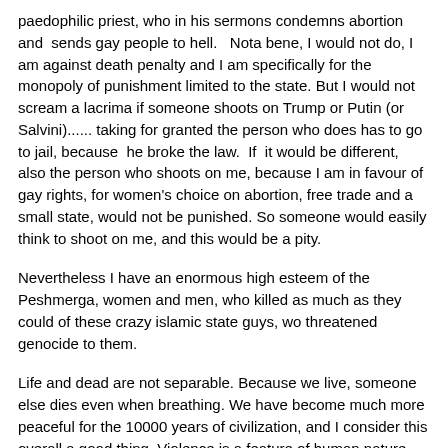paedophilic priest, who in his sermons condemns abortion and sends gay people to hell.  Nota bene, I would not do, I am against death penalty and I am specifically for the monopoly of punishment limited to the state. But I would not scream a lacrima if someone shoots on Trump or Putin (or Salvini)...... taking for granted the person who does has to go to jail, because  he broke the law.  If  it would be different, also the person who shoots on me, because I am in favour of gay rights, for women's choice on abortion, free trade and a small state, would not be punished. So someone would easily think to shoot on me, and this would be a pity.
Nevertheless I have an enormous high esteem of the Peshmerga, women and men, who killed as much as they could of these crazy islamic state guys, wo threatened genocide to them.
Life and dead are not separable. Because we live, someone else dies even when breathing. We have become much more peaceful for the 10000 years of civilization, and I consider this overall a good thing. Violence is a feature of human nature and needs to be properly handled.  I do not want to see humankind ending as described in a fantasy novel I read when I was young, Brains that were swimming in a nourishing liquid and made happy by electric impulses.